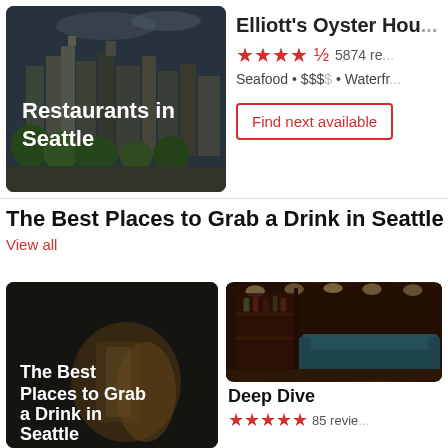[Figure (photo): City photo of Seattle skyline with text overlay reading 'Restaurants in Seattle']
Elliott's Oyster Hou...
★★★★½  5874 re...
Seafood • $$$$ • Waterfr...
Find next available
The Best Places to Grab a Drink in Seattle
View all
[Figure (photo): Dark moody photo of cocktail drinks with text overlay 'The Best Places to Grab a Drink in Seattle']
[Figure (photo): Dark atmospheric bar interior with blue velvet sofa and warm lighting]
Deep Dive
★★★★★  85 revie...